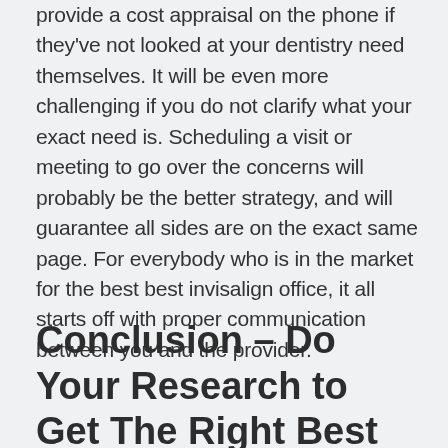provide a cost appraisal on the phone if they've not looked at your dentistry need themselves. It will be even more challenging if you do not clarify what your exact need is. Scheduling a visit or meeting to go over the concerns will probably be the better strategy, and will guarantee all sides are on the exact same page. For everybody who is in the market for the best best invisalign office, it all starts off with proper communication between you and the provider.
Conclusion – Do Your Research to Get The Right Best Invisalign Office